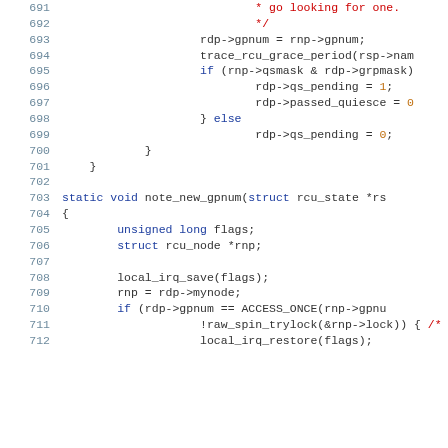[Figure (screenshot): Source code listing (C language) showing lines 691-712 of a Linux kernel RCU (Read-Copy-Update) implementation file, with syntax highlighting. Line numbers shown in blue-grey on left, code in various highlight colors on white background.]